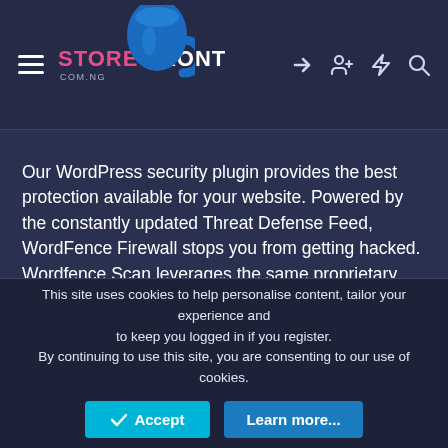STORE FRONT COM.NG
Our WordPress security plugin provides the best protection available for your website. Powered by the constantly updated Threat Defense Feed, WordFence Firewall stops you from getting hacked. Wordfence Scan leverages the same proprietary feed, alerting you quickly in the event your site is compromised. Our Live Traffic view gives you real-time visibility into traffic and hack attempts on your website. A deep set of additional tools round out the most comprehensive WordPress security solution available.
This site uses cookies to help personalise content, tailor your experience and to keep you logged in if you register.
By continuing to use this site, you are consenting to our use of cookies.
✓ Accept   Learn more...